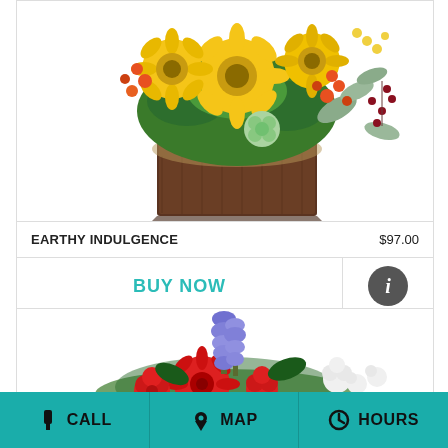[Figure (photo): Floral arrangement called Earthy Indulgence: yellow gerbera daisies, orange berries, green hydrangeas, red berries, eucalyptus leaves arranged in a dark brown wooden box]
EARTHY INDULGENCE    $97.00
BUY NOW
[Figure (photo): Floral arrangement with purple delphinium, red carnations, red gerbera daisy, and white stock flowers]
CALL   MAP   HOURS